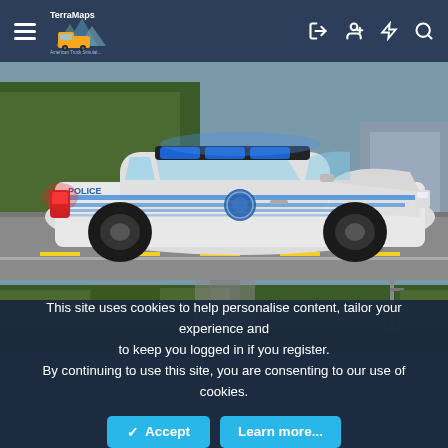TerraMaps navigation bar with hamburger menu, logo, and icons for login, account, notifications, and search
[Figure (screenshot): 3D rendered police car (white Ford Taurus style) with blue light bar on top, red flashing light on rear bumper, blue horizontal stripes along the sides with POLICE text and a circular badge, parked on a road with trees and a building in the background]
[Figure (photo): Forest/road scene strip visible below the main police car image — trees and road infrastructure partially visible]
This site uses cookies to help personalise content, tailor your experience and to keep you logged in if you register.
By continuing to use this site, you are consenting to our use of cookies.
✓ Accept | Learn more...